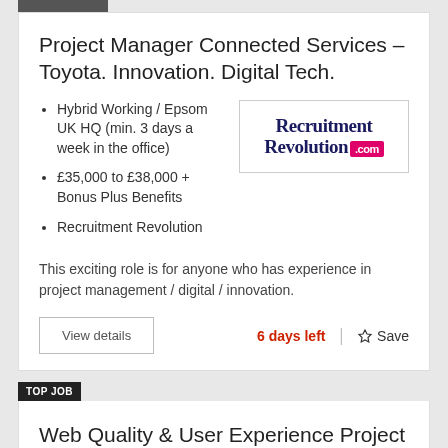Project Manager Connected Services – Toyota. Innovation. Digital Tech.
Hybrid Working / Epsom UK HQ (min. 3 days a week in the office)
£35,000 to £38,000 + Bonus Plus Benefits
Recruitment Revolution
[Figure (logo): Recruitment Revolution .com logo in dark navy cursive font with pink .com badge]
This exciting role is for anyone who has experience in project management / digital / innovation.
View details
6 days left
☆ Save
TOP JOB
Web Quality & User Experience Project Analyst – Global FMCG